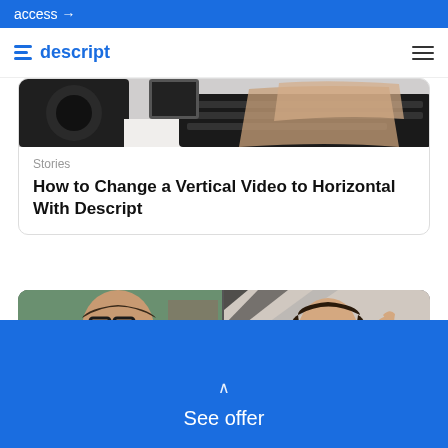access →
[Figure (logo): Descript logo with blue stacked lines icon and blue text 'descript', hamburger menu icon on right]
[Figure (photo): Hands typing on a keyboard with a smart speaker on the left]
Stories
How to Change a Vertical Video to Horizontal With Descript
[Figure (photo): Video call grid with four participants: man with glasses in blue shirt, woman in yellow waving, partial views of two others below]
See offer